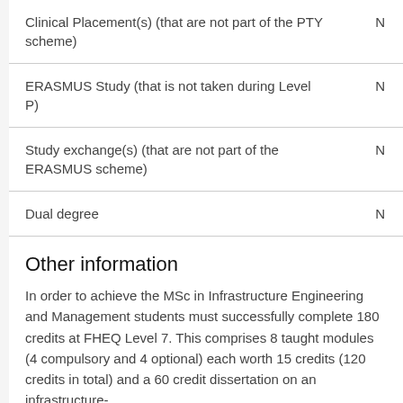| Item | Value |
| --- | --- |
| Clinical Placement(s) (that are not part of the PTY scheme) | N |
| ERASMUS Study (that is not taken during Level P) | N |
| Study exchange(s) (that are not part of the ERASMUS scheme) | N |
| Dual degree | N |
Other information
In order to achieve the MSc in Infrastructure Engineering and Management students must successfully complete 180 credits at FHEQ Level 7. This comprises 8 taught modules (4 compulsory and 4 optional) each worth 15 credits (120 credits in total) and a 60 credit dissertation on an infrastructure-